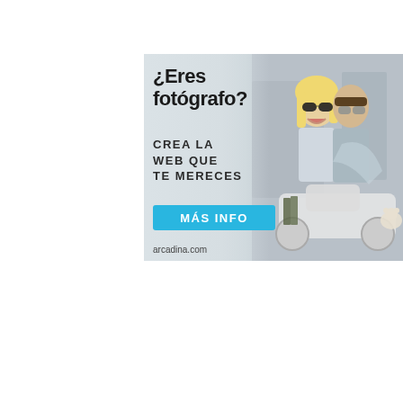[Figure (illustration): Advertisement for Arcadina.com targeting photographers. Shows a happy couple on a scooter in an outdoor setting. Text overlay reads '¿Eres fotógrafo?', 'CREA LA WEB QUE TE MERECES', a cyan button 'MÁS INFO', and domain 'arcadina.com'.]
[Figure (illustration): Advertisement for BorrowLenses.com - Online Camera Gear Rental. Black background with red 'RENT NOW' box on left, brand name 'BORROWLENSES.com' in large white text, tagline 'Online Camera Gear Rental', and a row of camera gear thumbnails at bottom.]